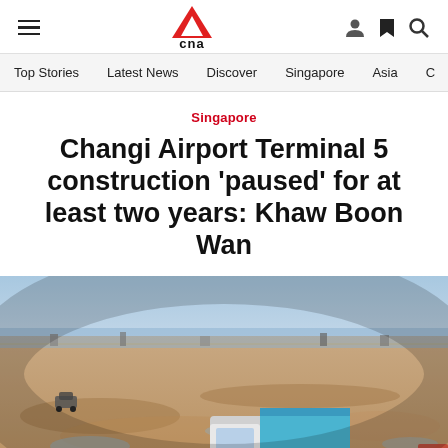CNA navigation header with hamburger menu, CNA logo, user icon, bookmark icon, search icon
Top Stories | Latest News | Discover | Singapore | Asia | C
Singapore
Changi Airport Terminal 5 construction 'paused' for at least two years: Khaw Boon Wan
[Figure (photo): Aerial view of Changi Airport Terminal 5 construction site showing a large open sandy area with construction equipment, a dump truck in the foreground, and the sea visible in the background.]